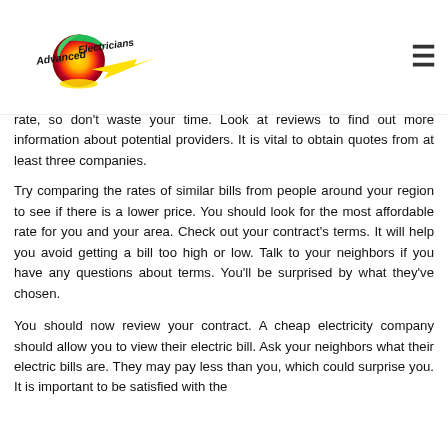Advanced Electricians
rate, so don't waste your time. Look at reviews to find out more information about potential providers. It is vital to obtain quotes from at least three companies.
Try comparing the rates of similar bills from people around your region to see if there is a lower price. You should look for the most affordable rate for you and your area. Check out your contract's terms. It will help you avoid getting a bill too high or low. Talk to your neighbors if you have any questions about terms. You'll be surprised by what they've chosen.
You should now review your contract. A cheap electricity company should allow you to view their electric bill. Ask your neighbors what their electric bills are. They may pay less than you, which could surprise you. It is important to be satisfied with the choice you make. Cheap electricity companies in...